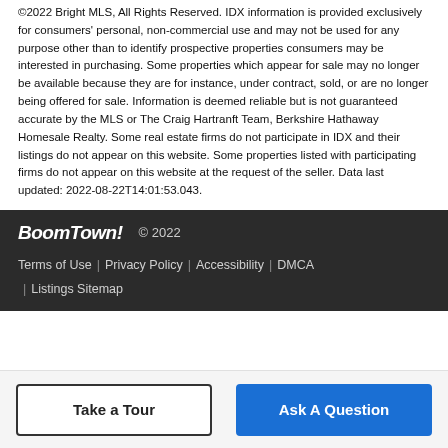©2022 Bright MLS, All Rights Reserved. IDX information is provided exclusively for consumers' personal, non-commercial use and may not be used for any purpose other than to identify prospective properties consumers may be interested in purchasing. Some properties which appear for sale may no longer be available because they are for instance, under contract, sold, or are no longer being offered for sale. Information is deemed reliable but is not guaranteed accurate by the MLS or The Craig Hartranft Team, Berkshire Hathaway Homesale Realty. Some real estate firms do not participate in IDX and their listings do not appear on this website. Some properties listed with participating firms do not appear on this website at the request of the seller. Data last updated: 2022-08-22T14:01:53.043.
BoomTown! © 2022 | Terms of Use | Privacy Policy | Accessibility | DMCA | Listings Sitemap
Take a Tour | Ask A Question